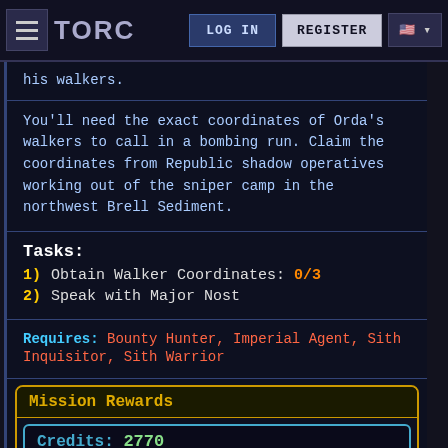TORC | LOG IN | REGISTER
his walkers.
You'll need the exact coordinates of Orda's walkers to call in a bombing run. Claim the coordinates from Republic shadow operatives working out of the sniper camp in the northwest Brell Sediment.
Tasks:
1) Obtain Walker Coordinates: 0/3
2) Speak with Major Nost
Requires: Bounty Hunter, Imperial Agent, Sith Inquisitor, Sith Warrior
Mission Rewards
Credits: 2770
Select One Reward:
Bounty Hunter 1-75 | Imperial Agent 1-75